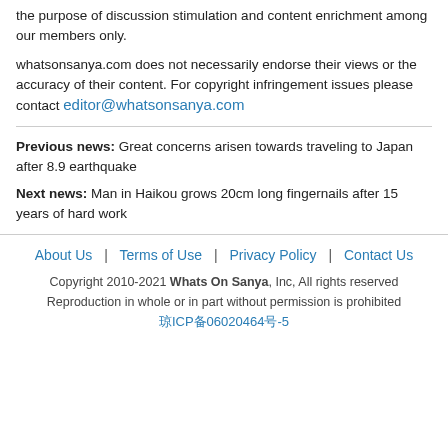the purpose of discussion stimulation and content enrichment among our members only.
whatsonsanya.com does not necessarily endorse their views or the accuracy of their content. For copyright infringement issues please contact editor@whatsonsanya.com
Previous news: Great concerns arisen towards traveling to Japan after 8.9 earthquake
Next news: Man in Haikou grows 20cm long fingernails after 15 years of hard work
About Us | Terms of Use | Privacy Policy | Contact Us
Copyright 2010-2021 Whats On Sanya, Inc, All rights reserved
Reproduction in whole or in part without permission is prohibited
琼ICP备06020464号-5